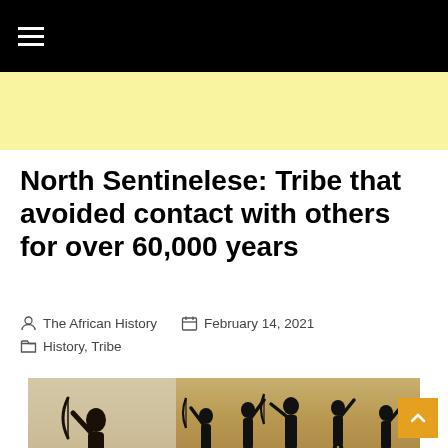≡
North Sentinelese: Tribe that avoided contact with others for over 60,000 years
The African History   February 14, 2021   History, Tribe
[Figure (photo): Two photos of North Sentinelese tribe members on beach holding bows and arrows, plus a satellite/aerial map image labeled 'North']